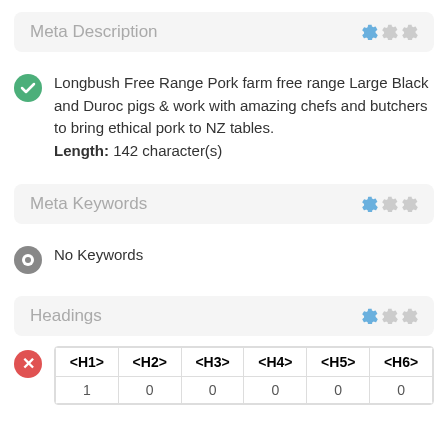Meta Description
Longbush Free Range Pork farm free range Large Black and Duroc pigs & work with amazing chefs and butchers to bring ethical pork to NZ tables.
Length: 142 character(s)
Meta Keywords
No Keywords
Headings
| <H1> | <H2> | <H3> | <H4> | <H5> | <H6> |
| --- | --- | --- | --- | --- | --- |
| 1 | 0 | 0 | 0 | 0 | 0 |